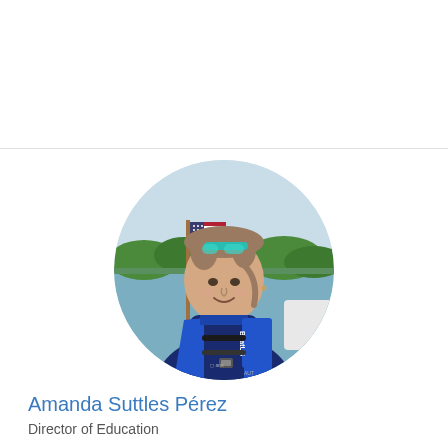[Figure (photo): Circular portrait photo of Amanda Suttles Pérez, a woman wearing a blue BoatUS life jacket and teal sunglasses on her head, smiling, on a boat with an American flag and water/trees in background.]
Amanda Suttles Pérez
Director of Education